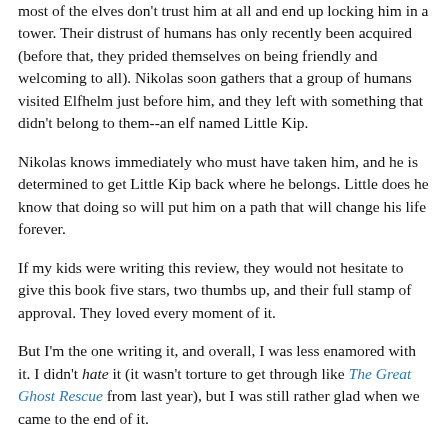most of the elves don't trust him at all and end up locking him in a tower. Their distrust of humans has only recently been acquired (before that, they prided themselves on being friendly and welcoming to all). Nikolas soon gathers that a group of humans visited Elfhelm just before him, and they left with something that didn't belong to them--an elf named Little Kip.
Nikolas knows immediately who must have taken him, and he is determined to get Little Kip back where he belongs. Little does he know that doing so will put him on a path that will change his life forever.
If my kids were writing this review, they would not hesitate to give this book five stars, two thumbs up, and their full stamp of approval. They loved every moment of it.
But I'm the one writing it, and overall, I was less enamored with it. I didn't hate it (it wasn't torture to get through like The Great Ghost Rescue from last year), but I was still rather glad when we came to the end of it.
The writing didn't impress me, and I felt like things in the plot